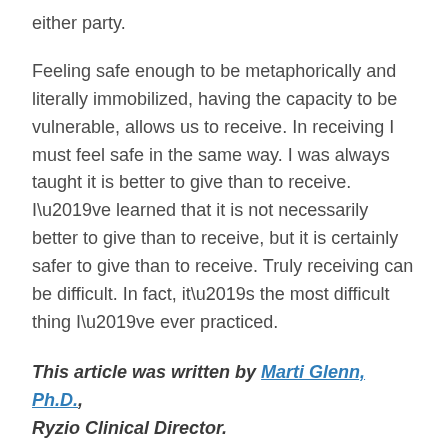either party.
Feeling safe enough to be metaphorically and literally immobilized, having the capacity to be vulnerable, allows us to receive. In receiving I must feel safe in the same way. I was always taught it is better to give than to receive. I’ve learned that it is not necessarily better to give than to receive, but it is certainly safer to give than to receive. Truly receiving can be difficult. In fact, it’s the most difficult thing I’ve ever practiced.
This article was written by Marti Glenn, Ph.D., Ryzio Clinical Director.